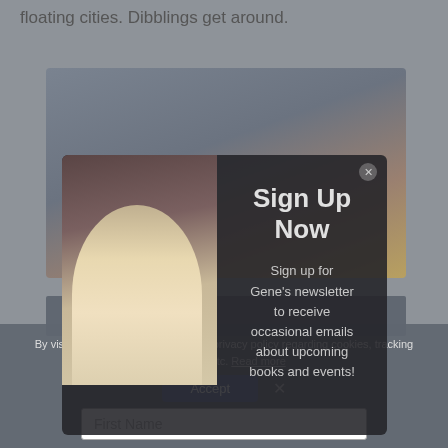floating cities. Dibblings get around.
[Figure (photo): A man with gray hair and glasses in a dark setting, used as background/thumbnail image for a newsletter signup popup]
[Figure (screenshot): Newsletter signup popup overlay with dark background. Title: 'Sign Up Now'. Body text: 'Sign up for Gene's newsletter to receive occasional emails about upcoming books and events!' Close button in top right corner.]
By visiting our site, you agree to our privacy policy regarding cookies, tracking statistics, etc. Read more
Accept   X
First Name